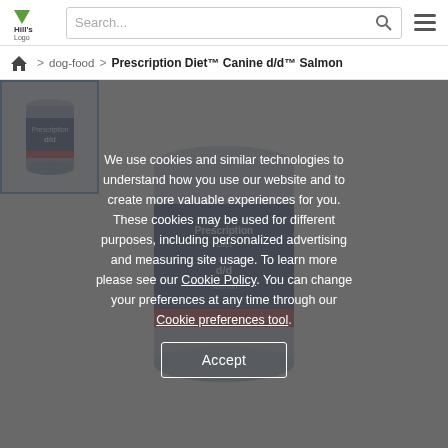Hill's Logo | Search... | hamburger menu
dog-food > Prescription Diet™ Canine d/d™ Salmon
[Figure (screenshot): Cookie consent modal overlay on Hill's Pet Nutrition product page. Modal text reads: 'We use cookies and similar technologies to understand how you use our website and to create more valuable experiences for you. These cookies may be used for different purposes, including personalized advertising and measuring site usage. To learn more please see our Cookie Policy. You can change your preferences at any time through our Cookie preferences tool.' With an Accept button.]
We use cookies and similar technologies to understand how you use our website and to create more valuable experiences for you. These cookies may be used for different purposes, including personalized advertising and measuring site usage. To learn more please see our Cookie Policy. You can change your preferences at any time through our Cookie preferences tool.
Accept